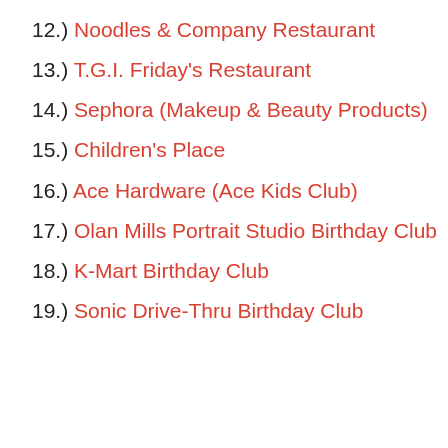12.) Noodles & Company Restaurant
13.) T.G.I. Friday's Restaurant
14.) Sephora (Makeup & Beauty Products)
15.) Children's Place
16.) Ace Hardware (Ace Kids Club)
17.) Olan Mills Portrait Studio Birthday Club
18.) K-Mart Birthday Club
19.) Sonic Drive-Thru Birthday Club